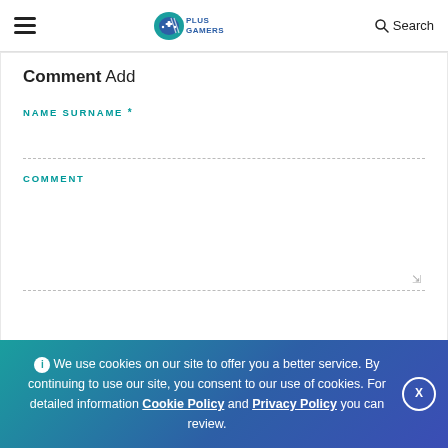Plus Gamers — Search
Comment Add
NAME SURNAME *
COMMENT
ⓘ We use cookies on our site to offer you a better service. By continuing to use our site, you consent to our use of cookies. For detailed information Cookie Policy and Privacy Policy you can review.